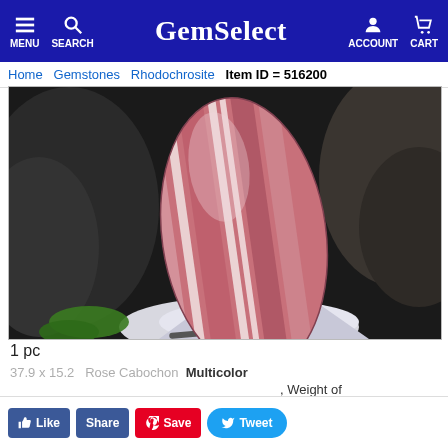GemSelect — MENU SEARCH ACCOUNT CART
Home Gemstones Rhodochrosite Item ID = 516200
[Figure (photo): A rhodochrosite gemstone cabochon with pink and white banding, held by tweezers against a dark rock background. The stone is elongated oval/teardrop shaped showing distinct layered stripes.]
1 pc
Multicolor Weight of
Like Share Save Tweet